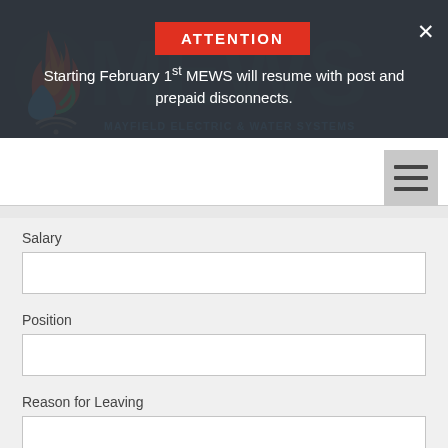[Figure (logo): MEWS Mayfield Electric & Water Systems logo with flame and water drop icon, dark teal background with large MEWS text watermark]
ATTENTION
Starting February 1st MEWS will resume with post and prepaid disconnects.
[Figure (screenshot): Hamburger menu icon (three horizontal lines) on light gray button]
Salary
Position
Reason for Leaving